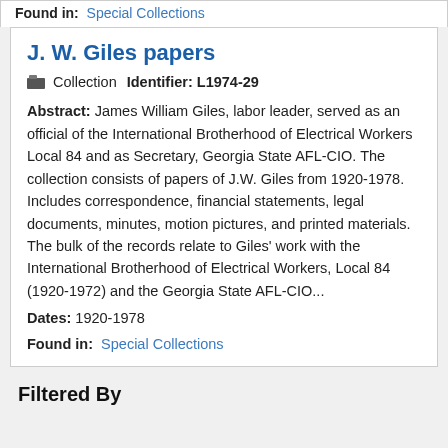Found in: Special Collections
J. W. Giles papers
Collection   Identifier: L1974-29
Abstract: James William Giles, labor leader, served as an official of the International Brotherhood of Electrical Workers Local 84 and as Secretary, Georgia State AFL-CIO. The collection consists of papers of J.W. Giles from 1920-1978. Includes correspondence, financial statements, legal documents, minutes, motion pictures, and printed materials. The bulk of the records relate to Giles' work with the International Brotherhood of Electrical Workers, Local 84 (1920-1972) and the Georgia State AFL-CIO...
Dates: 1920-1978
Found in: Special Collections
Filtered By